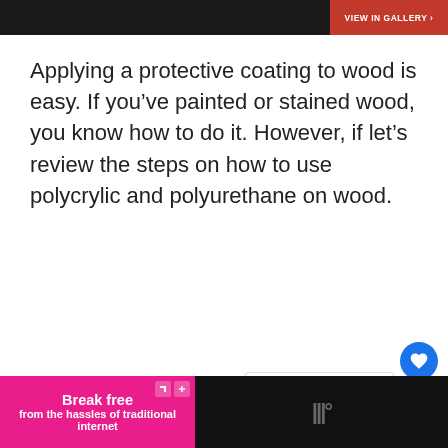[Figure (screenshot): Top image bar - dark photo strip with VIEW IN GALLERY button in red on right]
Applying a protective coating to wood is easy. If you've painted or stained wood, you know how to do it. However, if let's review the steps on how to use polycrylic and polyurethane on wood.
[Figure (screenshot): WHAT'S NEXT arrow label with Chevrolet Corvette... thumbnail]
[Figure (screenshot): Advertisement bar: Break free from the hassles of traditional internet on magenta background]